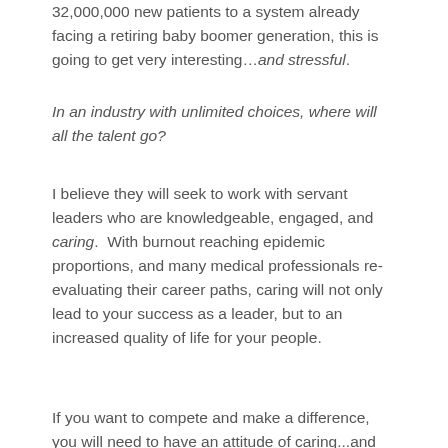32,000,000 new patients to a system already facing a retiring baby boomer generation, this is going to get very interesting...and stressful.
In an industry with unlimited choices, where will all the talent go?
I believe they will seek to work with servant leaders who are knowledgeable, engaged, and caring.  With burnout reaching epidemic proportions, and many medical professionals re-evaluating their career paths, caring will not only lead to your success as a leader, but to an increased quality of life for your people.
If you want to compete and make a difference, you will need to have an attitude of caring...and